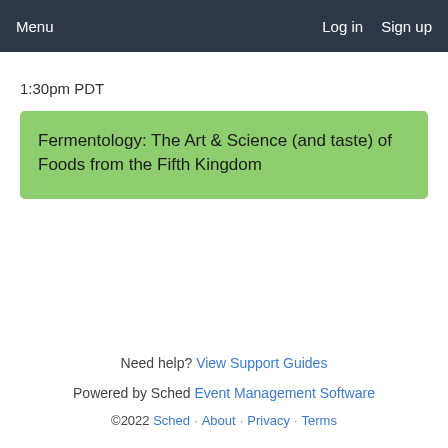Menu   Log in   Sign up
1:30pm PDT
Fermentology: The Art & Science (and taste) of Foods from the Fifth Kingdom
Need help? View Support Guides
Powered by Sched Event Management Software
©2022 Sched · About · Privacy · Terms